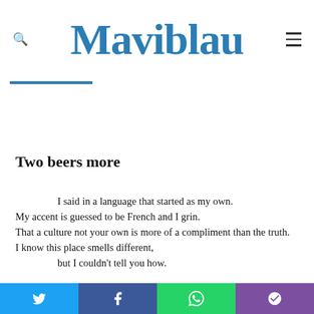Maviblau
Two beers more
I said in a language that started as my own.
My accent is guessed to be French and I grin.
That a culture not your own is more of a compliment than the truth.
I know this place smells different,
but I couldn't tell you how.